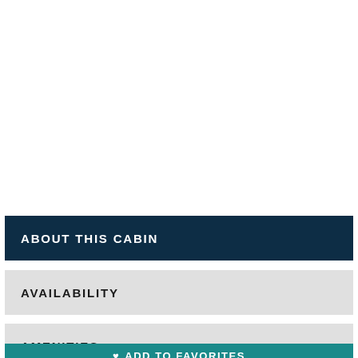ABOUT THIS CABIN
AVAILABILITY
AMENITIES
ADD TO FAVORITES